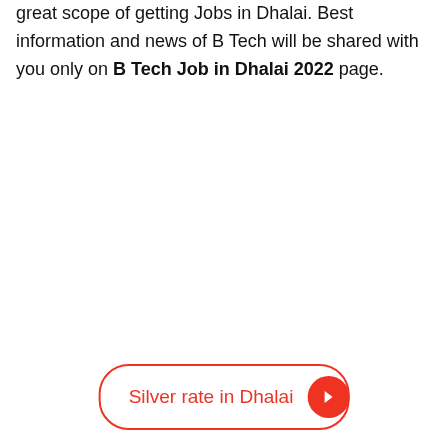great scope of getting Jobs in Dhalai. Best information and news of B Tech will be shared with you only on B Tech Job in Dhalai 2022 page.
Silver rate in Dhalai